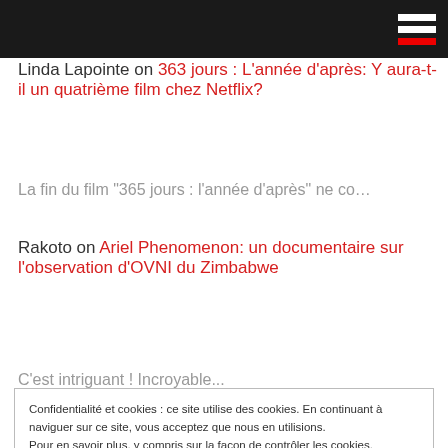[Site header with hamburger menu icon]
Linda Lapointe on 363 jours : L'année d'après: Y aura-t-il un quatrième film chez Netflix?
La fin du film "365 jours : l'année d'après" ne co…
Rakoto on Ariel Phenomenon: un documentaire sur l'observation d'OVNI du Zimbabwe
C'est intriguant ! Incroyable...
Confidentialité et cookies : ce site utilise des cookies. En continuant à naviguer sur ce site, vous acceptez que nous en utilisions.
Pour en savoir plus, y compris sur la façon de contrôler les cookies, reportez-vous à ce qui suit : Politique relative aux cookies
Fermer et accepter
Y aura-t-il un quatrième film chez Netflix?